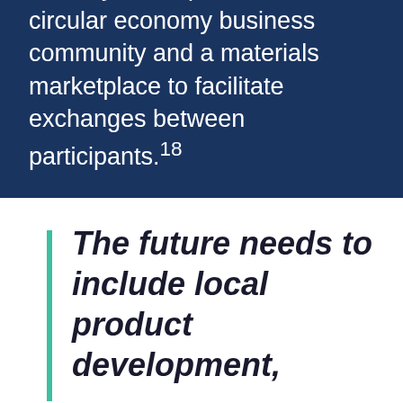prize competition, which rewards ideas for using hard-to-recycle materials, monthly meetups for the circular economy business community and a materials marketplace to facilitate exchanges between participants.18
The future needs to include local product development,